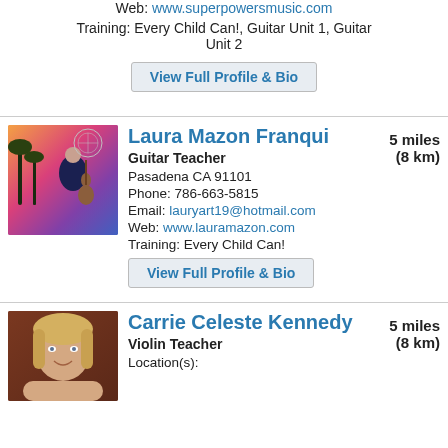Web: www.superpowersmusic.com
Training: Every Child Can!, Guitar Unit 1, Guitar Unit 2
View Full Profile & Bio
Laura Mazon Franqui
Guitar Teacher
Pasadena CA 91101
Phone: 786-663-5815
Email: lauryart19@hotmail.com
Web: www.lauramazon.com
Training: Every Child Can!
View Full Profile & Bio
5 miles (8 km)
Carrie Celeste Kennedy
Violin Teacher
Location(s):
5 miles (8 km)